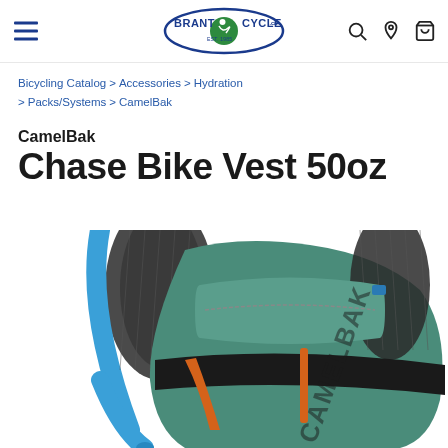Brant Cycle - navigation header
Bicycling Catalog > Accessories > Hydration > Packs/Systems > CamelBak
CamelBak Chase Bike Vest 50oz
[Figure (photo): CamelBak Chase Bike Vest 50oz hydration pack in teal/green color with blue reservoir tube, orange zipper accents, and mesh shoulder straps, shown from the front/back angle.]